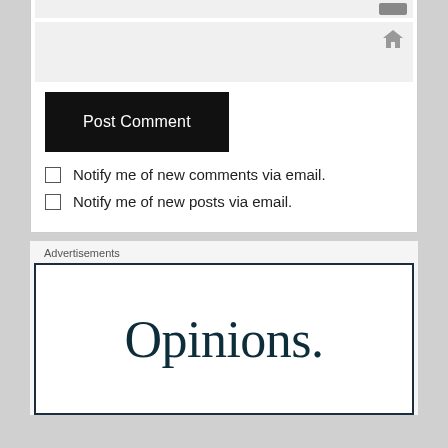[Figure (screenshot): Input field with a small grey button at top right]
[Figure (screenshot): Input field with a home icon at top right]
Post Comment
Notify me of new comments via email.
Notify me of new posts via email.
Advertisements
Opinions.